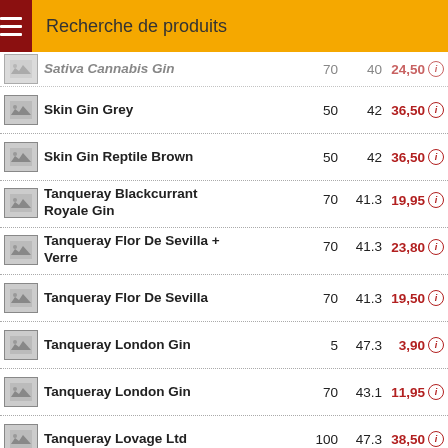Recherche de produits
| Image | Nom | Vol. | Alc. | Prix |
| --- | --- | --- | --- | --- |
| [img] | Sativa Cannabis Gin | 70 | 40 | 24,50 |
| [img] | Skin Gin Grey | 50 | 42 | 36,50 |
| [img] | Skin Gin Reptile Brown | 50 | 42 | 36,50 |
| [img] | Tanqueray Blackcurrant Royale Gin | 70 | 41.3 | 19,95 |
| [img] | Tanqueray Flor De Sevilla + Verre | 70 | 41.3 | 23,80 |
| [img] | Tanqueray Flor De Sevilla | 70 | 41.3 | 19,50 |
| [img] | Tanqueray London Gin | 5 | 47.3 | 3,90 |
| [img] | Tanqueray London Gin | 70 | 43.1 | 11,95 |
| [img] | Tanqueray Lovage Ltd | 100 | 47.3 | 38,50 |
| [img] | Tanqueray Malacca | 100 | 41.3 | 27,25 |
| [img] | Tanqueray Rangpur Gin | 70 | 41.3 | 22,50 |
| [img] | Tanqueray Rangpur Lime | 70 | 41.3 | 19,95 |
| [img] | Tanqueray Ten Grapefruit & Rosemary | 100 | 45.3 | 49,80 |